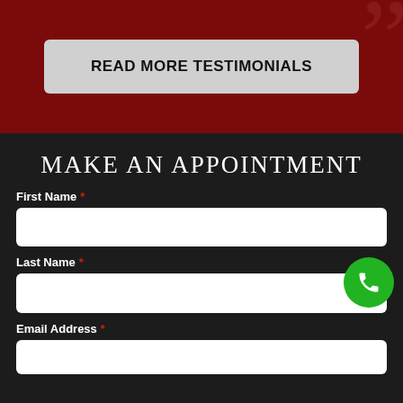READ MORE TESTIMONIALS
MAKE AN APPOINTMENT
First Name *
Last Name *
Email Address *